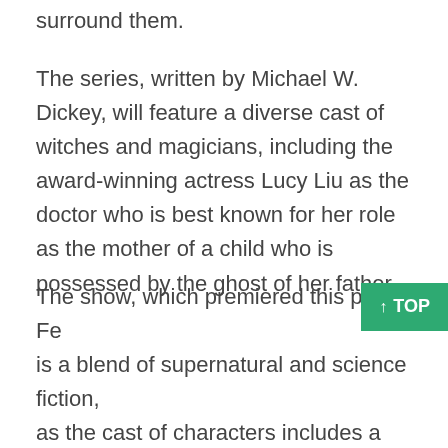surround them.
The series, written by Michael W. Dickey, will feature a diverse cast of witches and magicians, including the award-winning actress Lucy Liu as the doctor who is best known for her role as the mother of a child who is possessed by the ghost of her father.
The show, which premiered this past Fe[bruary], is a blend of supernatural and science fiction, as the cast of characters includes a paranormal detective, a wizard and a witch doctor.